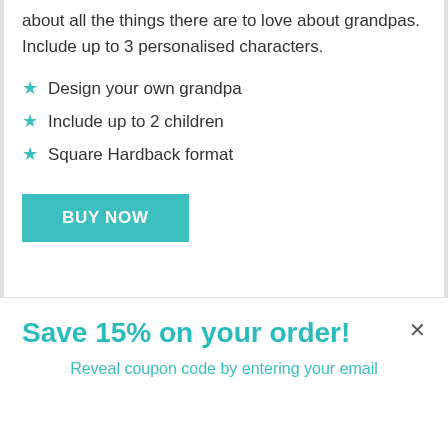about all the things there are to love about grandpas. Include up to 3 personalised characters.
Design your own grandpa
Include up to 2 children
Square Hardback format
BUY NOW
Save 15% on your order!
Reveal coupon code by entering your email
Email address
Reveal code